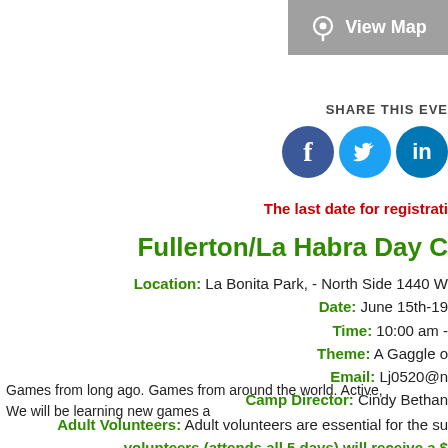[Figure (other): View Map button with location pin icon on grey background]
SHARE THIS EVE
[Figure (other): Social media icons: Facebook, Twitter, LinkedIn]
The last date for registrati
Fullerton/La Habra Day C
Location: La Bonita Park, - North Side 1440 W
Date: June 15th-19
Time: 10:00 am -
Theme: A Gaggle o
Email: Lj0520@n
Camp Director: Cindy Bethan
Games from long ago. Games from around the world. Active,
We will be learning new games a
Adult Volunteers: Adult volunteers are essential for the su
volunteers (attends all 5 days) will receive a $
In order to meet the GSUSA required Girl Safety Ratios (min
specific number of girls), priority will be given to troops that p